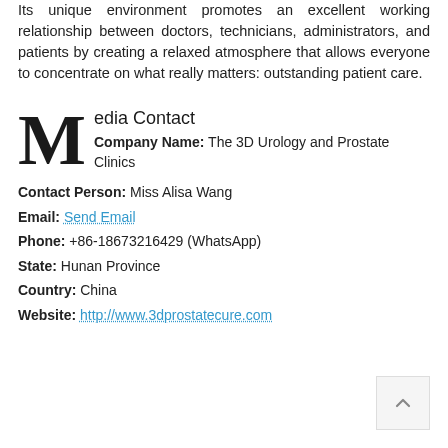Its unique environment promotes an excellent working relationship between doctors, technicians, administrators, and patients by creating a relaxed atmosphere that allows everyone to concentrate on what really matters: outstanding patient care.
Media Contact
Company Name: The 3D Urology and Prostate Clinics
Contact Person: Miss Alisa Wang
Email: Send Email
Phone: +86-18673216429 (WhatsApp)
State: Hunan Province
Country: China
Website: http://www.3dprostatecure.com